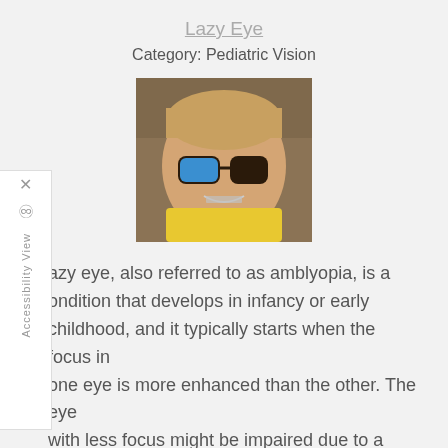Lazy Eye
Category: Pediatric Vision
[Figure (photo): A smiling child wearing glasses with a blue eye patch covering one lens, with braces visible, against a brown background]
Lazy eye, also referred to as amblyopia, is a condition that develops in infancy or early childhood, and it typically starts when the focus in one eye is more enhanced than the other. The eye with less focus might be impaired due to a significant amount of farsightedness or astigmatism, or something
Read more